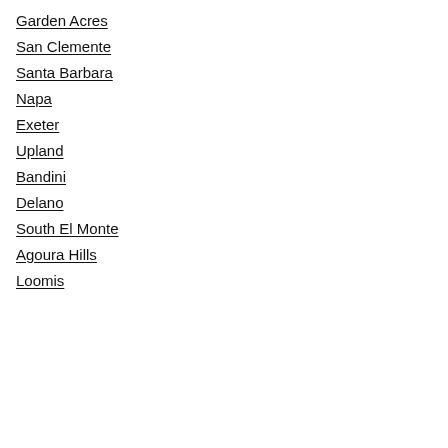Garden Acres
San Clemente
Santa Barbara
Napa
Exeter
Upland
Bandini
Delano
South El Monte
Agoura Hills
Loomis